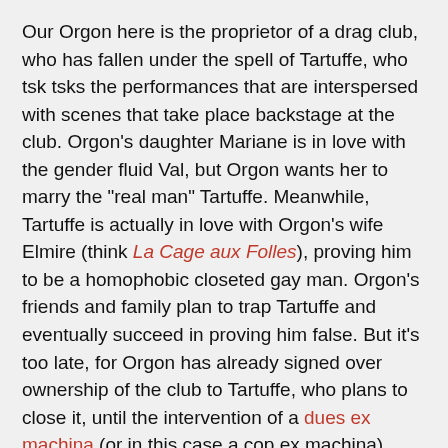Our Orgon here is the proprietor of a drag club, who has fallen under the spell of Tartuffe, who tsk tsks the performances that are interspersed with scenes that take place backstage at the club. Orgon's daughter Mariane is in love with the gender fluid Val, but Orgon wants her to marry the "real man" Tartuffe. Meanwhile, Tartuffe is actually in love with Orgon's wife Elmire (think La Cage aux Folles), proving him to be a homophobic closeted gay man. Orgon's friends and family plan to trap Tartuffe and eventually succeed in proving him false. But it's too late, for Orgon has already signed over ownership of the club to Tartuffe, who plans to close it, until the intervention of a dues ex machina (or in this case a cop ex machina). The hypocrite is exposed, and the happy beautiful drag club gets to continue to celebrate life and individuality!
Everyone in the ten-person cast (Courtney Stirn, Dan Britt, James Satter, Jex Arzayus, Kevin McLaughlin, Kjer Whiting, Nolan Henningson, Parker Sera, Sabrina Crews, and Todd O'Dowd) is really fun to watch, handles the rhyming dialogue well, and brings their own unique identity to the story in a celebration of all life. The drag performances are fun too.